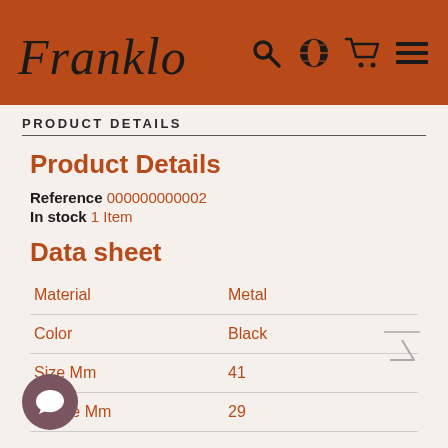Frank Lo
PRODUCT DETAILS
Product Details
Reference 000000000002
In stock 1 Item
Data sheet
|  |  |
| --- | --- |
| Material | Metal |
| Color | Black |
| Size Mm | 41 |
| Bridge Mm | 29 |